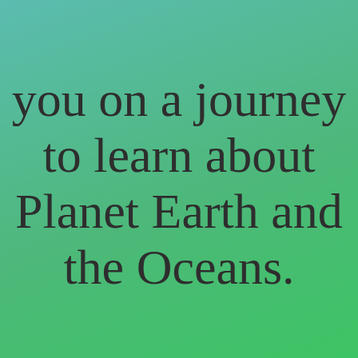you on a journey to learn about Planet Earth and the Oceans.